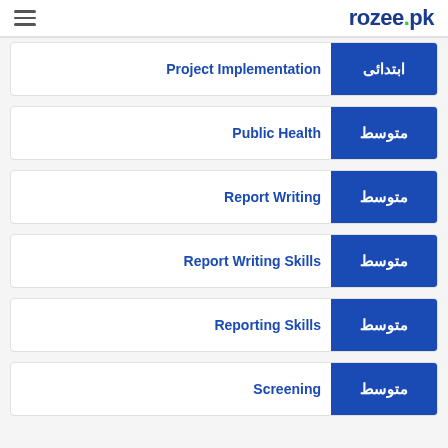rozee.pk
Project Implementation | ابتدائی
Public Health | متوسط
Report Writing | متوسط
Report Writing Skills | متوسط
Reporting Skills | متوسط
Screening | متوسط